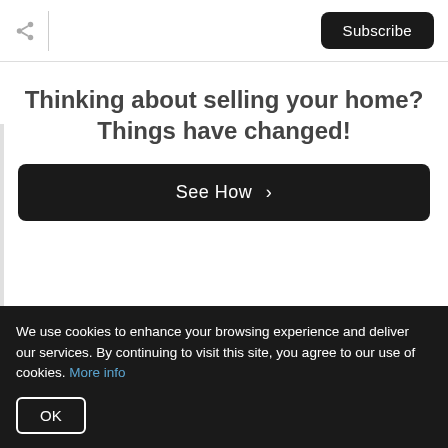Share | Subscribe
Thinking about selling your home? Things have changed!
See How >
Eliminate Any Pest Problems
We use cookies to enhance your browsing experience and deliver our services. By continuing to visit this site, you agree to our use of cookies. More info
OK